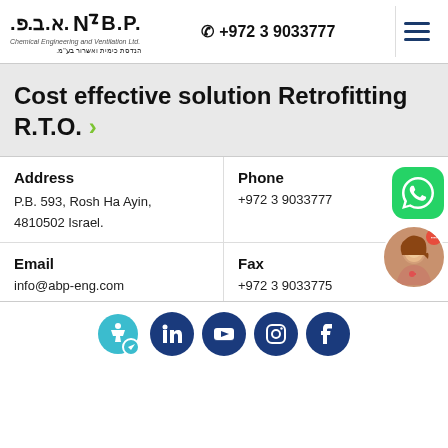ABP Chemical Engineering and Ventilation Ltd. | +972 3 9033777
Cost effective solution Retrofitting R.T.O. >
Address
P.B. 593, Rosh Ha Ayin,
4810502 Israel.
Phone
+972 3 9033777
Email
info@abp-eng.com
Fax
+972 3 9033775
[Figure (illustration): Social media icons row: accessibility icon (light blue), LinkedIn, YouTube, Instagram, Facebook (all dark navy blue circles). WhatsApp green button and female avatar chat widget on the right.]